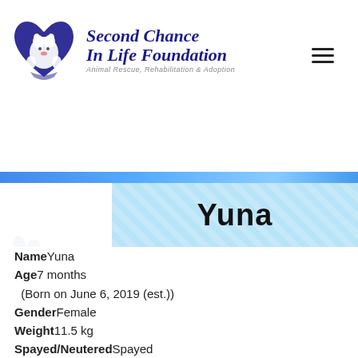[Figure (logo): Second Chance In Life Foundation logo — a heart shape in dark blue with a white dog silhouette, accompanied by the text 'Second Chance In Life Foundation' and tagline 'Animal Rescue, Rehabilitation & Adoption']
Yuna
NameYuna
Age7 months
(Born on June 6, 2019 (est.))
GenderFemale
Weight11.5 kg
Spayed/NeuteredSpayed
Yuna was likely abandoned by her previous owner, and survived on food scraps given to her by kind people in the neighbourhood. The rescuer noticed how calm and gentle this little girl is, and decided to take her to a foster and to help